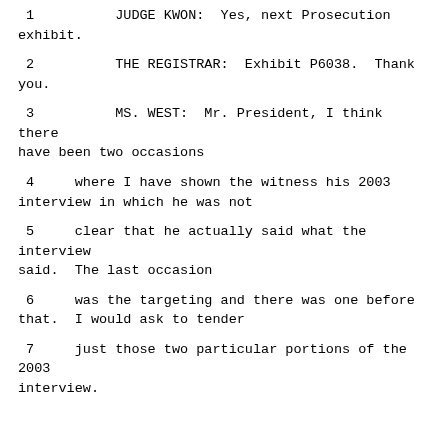1          JUDGE KWON:  Yes, next Prosecution exhibit.
2          THE REGISTRAR:  Exhibit P6038.  Thank you.
3          MS. WEST:  Mr. President, I think there have been two occasions
4     where I have shown the witness his 2003 interview in which he was not
5     clear that he actually said what the interview said.  The last occasion
6     was the targeting and there was one before that.  I would ask to tender
7     just those two particular portions of the 2003 interview.